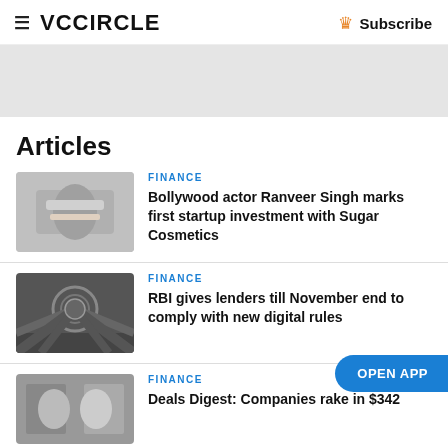VCCircle — Subscribe
[Figure (other): Grey advertisement banner placeholder]
Articles
[Figure (photo): Person holding a business card]
FINANCE
Bollywood actor Ranveer Singh marks first startup investment with Sugar Cosmetics
[Figure (photo): RBI building facade with circular emblem]
FINANCE
RBI gives lenders till November end to comply with new digital rules
[Figure (photo): Two businessmen shaking hands]
FINANCE
Deals Digest: Companies rake in $342